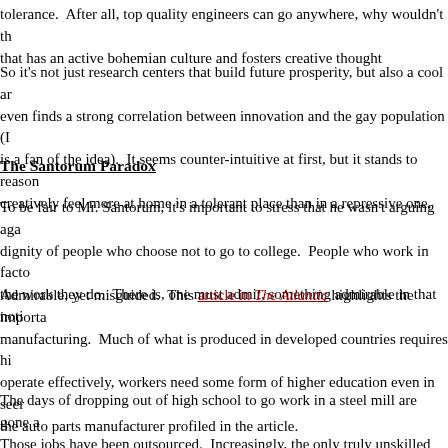tolerance.  After all, top quality engineers can go anywhere, why wouldn't th that has an active bohemian culture and fosters creative thought
So it's not just research centers that build future prosperity, but also a cool ar even finds a strong correlation between innovation and the gay population (I is a fan of the idea).  It seems counter-intuitive at first, but it stands to reason creatively feel more at home in a tolerant place than in a repressive one.
The Santorum Paradox
To be fair to Mr. Santorum, it's important to stress that he wasn't arguing aga dignity of people who choose not to go to college.  People who work in facto the work they do.  There is, one must admit, something admirable in that noti
Admirable, yet misguided.  This article in The Atlantic highlights the importa manufacturing.  Much of what is produced in developed countries requires hi operate effectively, workers need some form of higher education even in seer the auto parts manufacturer profiled in the article.
The days of dropping out of high school to go work in a steel mill are gone a Those jobs have been outsourced.  Increasingly, the only truly unskilled posi